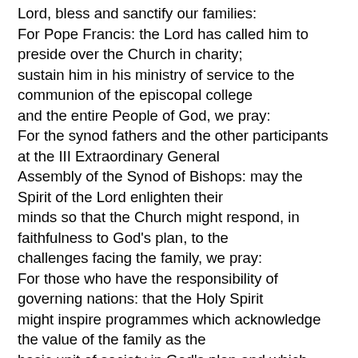Lord, bless and sanctify our families: For Pope Francis: the Lord has called him to preside over the Church in charity; sustain him in his ministry of service to the communion of the episcopal college and the entire People of God, we pray: For the synod fathers and the other participants at the III Extraordinary General Assembly of the Synod of Bishops: may the Spirit of the Lord enlighten their minds so that the Church might respond, in faithfulness to God's plan, to the challenges facing the family, we pray: For those who have the responsibility of governing nations: that the Holy Spirit might inspire programmes which acknowledge the value of the family as the basic unit of society in God's plan and which offer support to families in